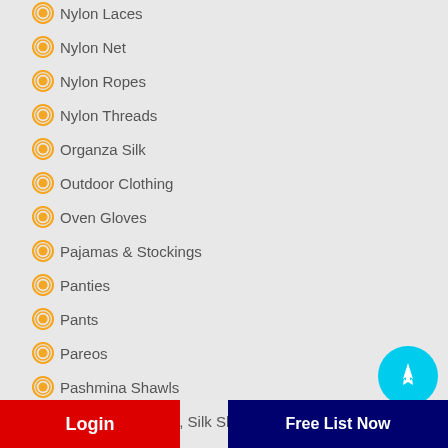Nylon Laces
Nylon Net
Nylon Ropes
Nylon Threads
Organza Silk
Outdoor Clothing
Oven Gloves
Pajamas & Stockings
Panties
Pants
Pareos
Pashmina Shawls
Pashmina Shawls, Silk Shawls, Cashmere Shawls
Patchwork Madras Fabrics
Pigment Dyed Garments
Plain Mulberry Silk
...s